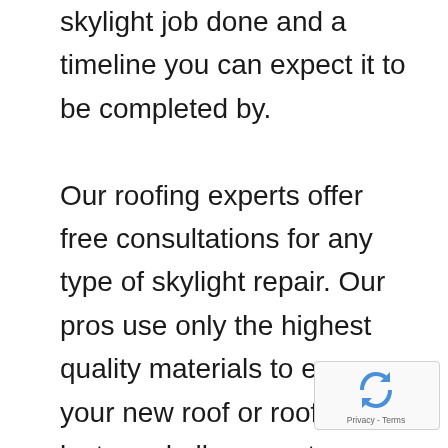skylight job done and a timeline you can expect it to be completed by.

Our roofing experts offer free consultations for any type of skylight repair. Our pros use only the highest quality materials to ensure your new roof or roof repair lasts and all our customers are satisfied with the outcome. Our technicians do not employ high-pressure or scare tactics. Our reputation in this industry was well
[Figure (logo): reCAPTCHA badge with spinning arrows logo and 'Privacy - Terms' text]